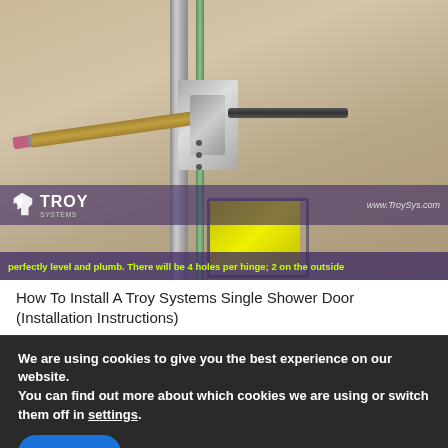[Figure (screenshot): Screenshot of a video showing a Troy Systems shower door installation. A pencil is inserted horizontally through a door hinge mechanism mounted on a glass door frame. The hinge is metallic/chrome colored with visible screw holes. A dark handle extends to the right. Below the hinge is a yellow/lime colored component. The Troy Systems logo and website URL www.TroySys.com are visible in an overlay bar. Yellow subtitle text reads: 'perfectly level and plumb. There will be 4 holes per hinge; 2 on the outside']
How To Install A Troy Systems Single Shower Door (Installation Instructions)
We are using cookies to give you the best experience on our website.
You can find out more about which cookies we are using or switch them off in settings.
Accept